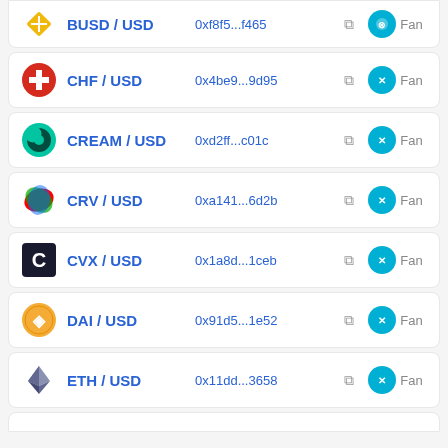BUSD / USD  0xf8f5...f465  Fant
CHF / USD  0x4be9...9d95  Fant
CREAM / USD  0xd2ff...c01c  Fant
CRV / USD  0xa141...6d2b  Fant
CVX / USD  0x1a8d...1ceb  Fant
DAI / USD  0x91d5...1e52  Fant
ETH / USD  0x11dd...3658  Fant